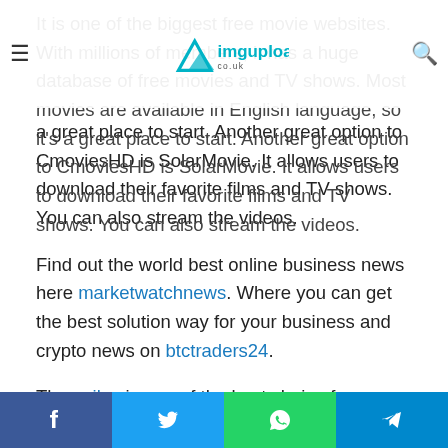Imgupload.co.uk navigation bar
It is one of the biggest free movie websites. With millions of members, it has a huge database of free movies and TV shows. Most movies are available in English language, so it's a great place to start. Another great option to CmoviesHD is SolarMovie. It allows users to download their favorite films and TV shows. You can also stream the videos.
Find out the world best online business news here marketwatchnews. Where you can get the best solution way for your business and crypto news on btctraders24.
The xoilac is one of the best choice for you so that you can get the latest web news around the world. And another think, if you are seeking for good lawyer then you can visit here to get the best lawyersupport in the world.
Social share bar: Facebook, Twitter, WhatsApp, Telegram